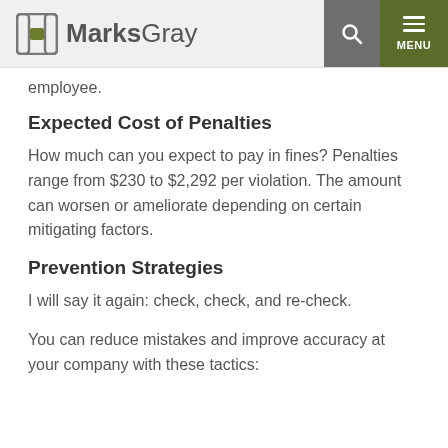MarksGray
employee.
Expected Cost of Penalties
How much can you expect to pay in fines? Penalties range from $230 to $2,292 per violation. The amount can worsen or ameliorate depending on certain mitigating factors.
Prevention Strategies
I will say it again: check, check, and re-check.
You can reduce mistakes and improve accuracy at your company with these tactics: